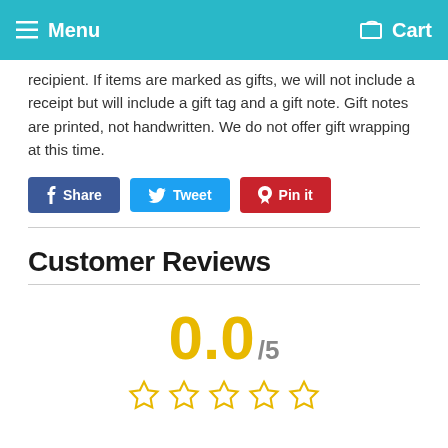Menu   Cart
recipient. If items are marked as gifts, we will not include a receipt but will include a gift tag and a gift note. Gift notes are printed, not handwritten. We do not offer gift wrapping at this time.
[Figure (infographic): Social share buttons: Facebook Share, Twitter Tweet, Pinterest Pin it]
Customer Reviews
0.0/5 with 5 empty stars